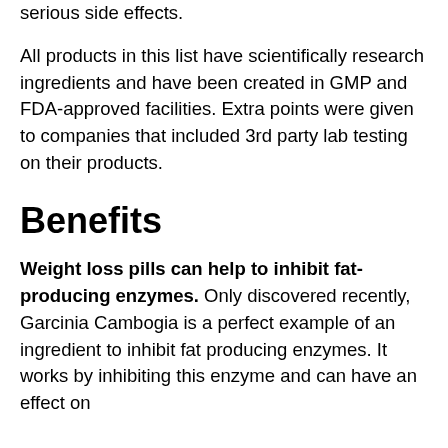serious side effects.
All products in this list have scientifically research ingredients and have been created in GMP and FDA-approved facilities. Extra points were given to companies that included 3rd party lab testing on their products.
Benefits
Weight loss pills can help to inhibit fat-producing enzymes. Only discovered recently, Garcinia Cambogia is a perfect example of an ingredient to inhibit fat producing enzymes. It works by inhibiting this enzyme and can have an effect on